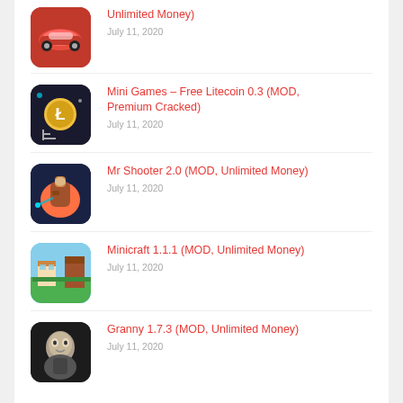Mini Games – Free Litecoin 0.3 (MOD, Premium Cracked)
July 11, 2020
Mr Shooter 2.0 (MOD, Unlimited Money)
July 11, 2020
Minicraft 1.1.1 (MOD, Unlimited Money)
July 11, 2020
Granny 1.7.3 (MOD, Unlimited Money)
July 11, 2020